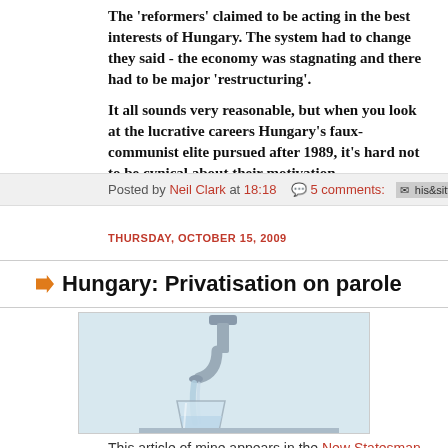The 'reformers' claimed to be acting in the best interests of Hungary. The system had to change they said - the economy was stagnating and there had to be major 'restructuring'.
It all sounds very reasonable, but when you look at the lucrative careers Hungary's faux-communist elite pursued after 1989, it's hard not to be cynical about their motivation.
Posted by Neil Clark at 18:18   5 comments:
THURSDAY, OCTOBER 15, 2009
Hungary: Privatisation on parole
[Figure (photo): A water faucet pouring water into a glass]
This article of mine appears in the New Statesman.